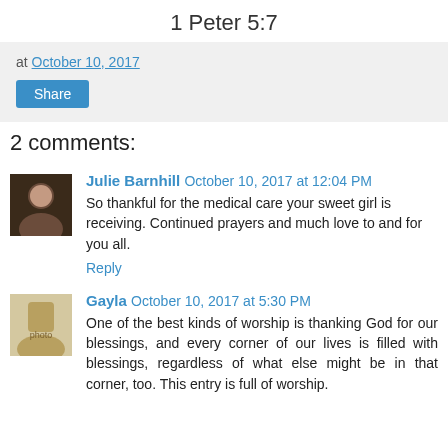1 Peter 5:7
at October 10, 2017
Share
2 comments:
Julie Barnhill October 10, 2017 at 12:04 PM
So thankful for the medical care your sweet girl is receiving. Continued prayers and much love to and for you all.
Reply
Gayla October 10, 2017 at 5:30 PM
One of the best kinds of worship is thanking God for our blessings, and every corner of our lives is filled with blessings, regardless of what else might be in that corner, too. This entry is full of worship.